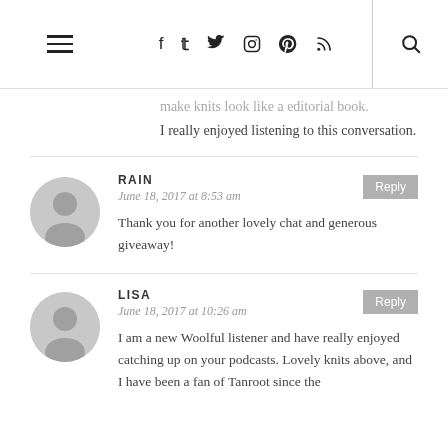Navigation header with hamburger menu, social icons (Facebook, Twitter, Instagram, Pinterest, RSS), and search icon
make knits look like a editorial book. I really enjoyed listening to this conversation.
RAIN
June 18, 2017 at 8:53 am
Thank you for another lovely chat and generous giveaway!
LISA
June 18, 2017 at 10:26 am
I am a new Woolful listener and have really enjoyed catching up on your podcasts. Lovely knits above, and I have been a fan of Tanroot since the